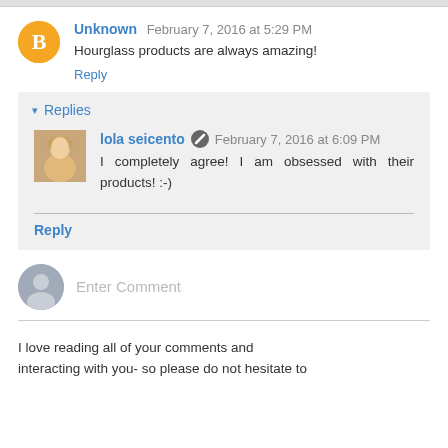Unknown February 7, 2016 at 5:29 PM
Hourglass products are always amazing!
Reply
▾ Replies
lola seicento February 7, 2016 at 6:09 PM
I completely agree! I am obsessed with their products! :-)
Reply
Enter Comment
I love reading all of your comments and interacting with you- so please do not hesitate to